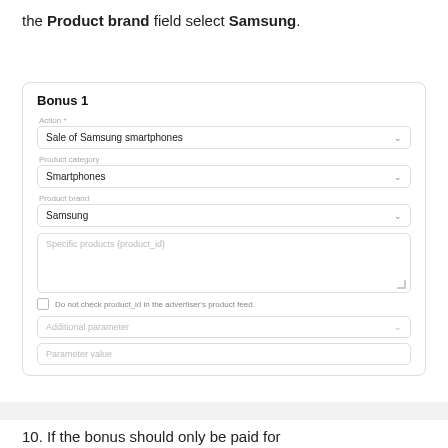the Product brand field select Samsung.
[Figure (screenshot): A UI form card labeled 'Bonus 1' containing fields: Action (Sale of Samsung smartphones), Product category (Smartphones), Product brand (Samsung), a textarea for Specific products (product_id), a checkbox for 'Do not check product_id in the advertiser's product feed.', an Additional parameter dropdown, and a Parameter value input.]
10. If the bonus should only be paid for